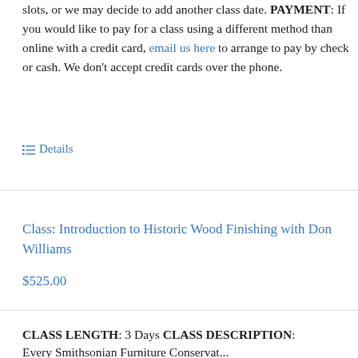slots, or we may decide to add another class date. PAYMENT: If you would like to pay for a class using a different method than online with a credit card, email us here to arrange to pay by check or cash. We don't accept credit cards over the phone.
Details
Class: Introduction to Historic Wood Finishing with Don Williams
$525.00
CLASS LENGTH: 3 Days CLASS DESCRIPTION:
Every Smithsonian Furniture Conservat...